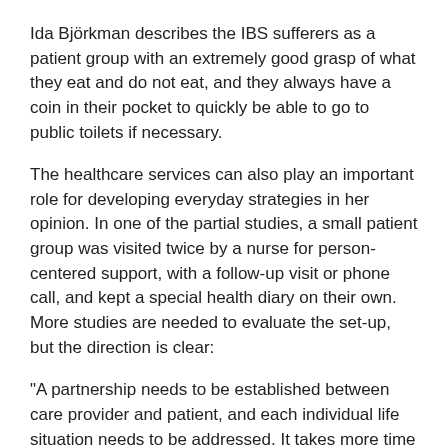Ida Björkman describes the IBS sufferers as a patient group with an extremely good grasp of what they eat and do not eat, and they always have a coin in their pocket to quickly be able to go to public toilets if necessary.
The healthcare services can also play an important role for developing everyday strategies in her opinion. In one of the partial studies, a small patient group was visited twice by a nurse for person-centered support, with a follow-up visit or phone call, and kept a special health diary on their own. More studies are needed to evaluate the set-up, but the direction is clear:
"A partnership needs to be established between care provider and patient, and each individual life situation needs to be addressed. It takes more time than a regular consultation of 20 minutes, but if it reduces the suffering and means that the patients do not need as much care later on, it's a good investment," says Ida Björkman.
###